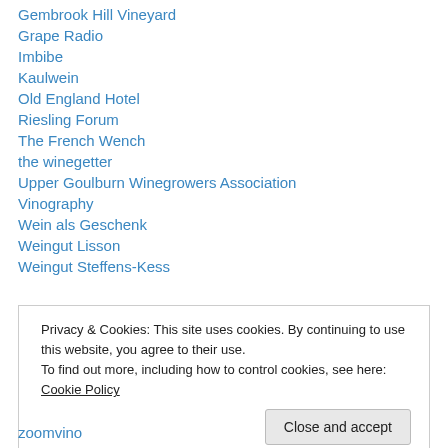Gembrook Hill Vineyard
Grape Radio
Imbibe
Kaulwein
Old England Hotel
Riesling Forum
The French Wench
the winegetter
Upper Goulburn Winegrowers Association
Vinography
Wein als Geschenk
Weingut Lisson
Weingut Steffens-Kess
Privacy & Cookies: This site uses cookies. By continuing to use this website, you agree to their use.
To find out more, including how to control cookies, see here: Cookie Policy
zoomvino